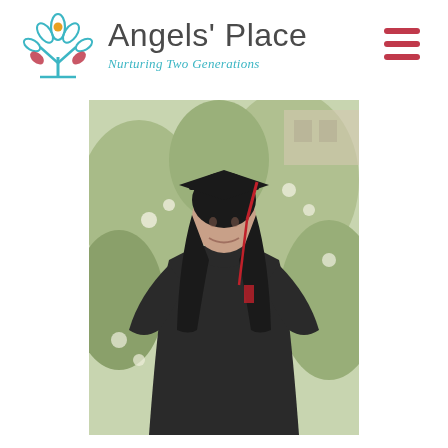[Figure (logo): Angels' Place logo: teal tree/plant illustration with red leaf accents and orange center, with organization name 'Angels' Place' and tagline 'Nurturing Two Generations']
[Figure (photo): A young woman in black graduation cap and gown, smiling, standing outdoors in front of flowering bushes/greenery. The graduation cap has a red tassel.]